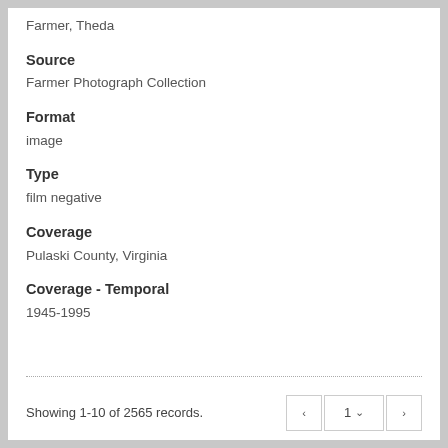Farmer, Theda
Source
Farmer Photograph Collection
Format
image
Type
film negative
Coverage
Pulaski County, Virginia
Coverage - Temporal
1945-1995
Showing 1-10 of 2565 records.